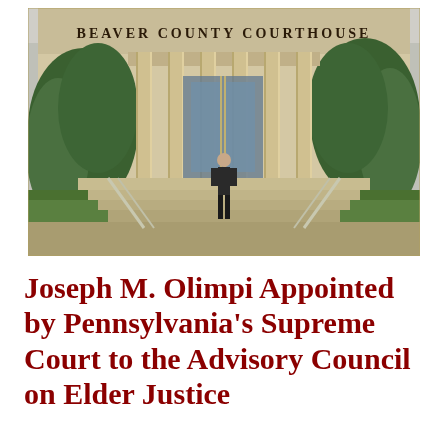[Figure (photo): Photograph of a man in a dark suit standing on the steps of Beaver County Courthouse, a neoclassical building with large stone columns, glass doors, and green trees on either side.]
Joseph M. Olimpi Appointed by Pennsylvania's Supreme Court to the Advisory Council on Elder Justice